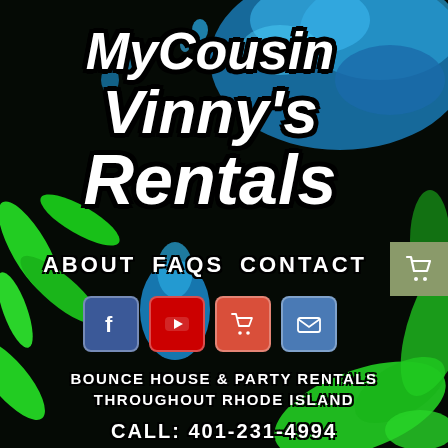[Figure (illustration): Dark background with blue water splash at top right, green leaf/paint splashes on left and right sides, and green splatter at bottom]
My Cousin Vinny's Rentals
ABOUT  FAQS  CONTACT
[Figure (infographic): Row of four social media icon buttons: Facebook (blue), YouTube (red), Shopping Cart (red-orange), Email (blue)]
BOUNCE HOUSE & PARTY RENTALS THROUGHOUT RHODE ISLAND
CALL: 401-231-4994